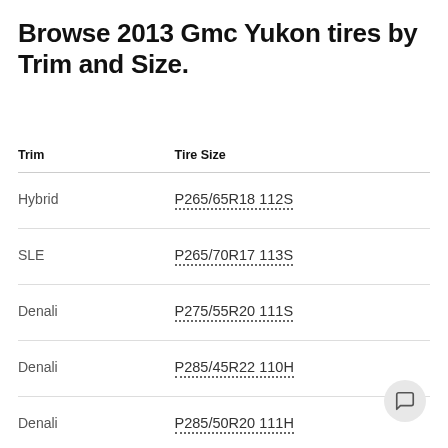Browse 2013 Gmc Yukon tires by Trim and Size.
| Trim | Tire Size |
| --- | --- |
| Hybrid | P265/65R18 112S |
| SLE | P265/70R17 113S |
| Denali | P275/55R20 111S |
| Denali | P285/45R22 110H |
| Denali | P285/50R20 111H |